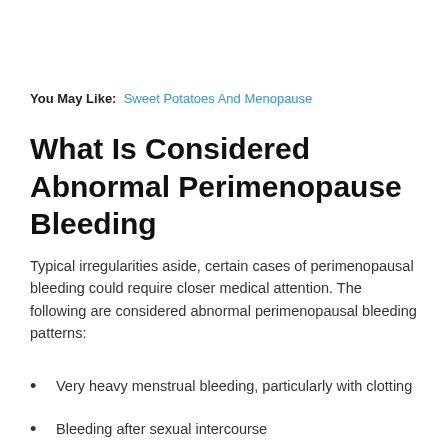You May Like: Sweet Potatoes And Menopause
What Is Considered Abnormal Perimenopause Bleeding
Typical irregularities aside, certain cases of perimenopausal bleeding could require closer medical attention. The following are considered abnormal perimenopausal bleeding patterns:
Very heavy menstrual bleeding, particularly with clotting
Bleeding after sexual intercourse